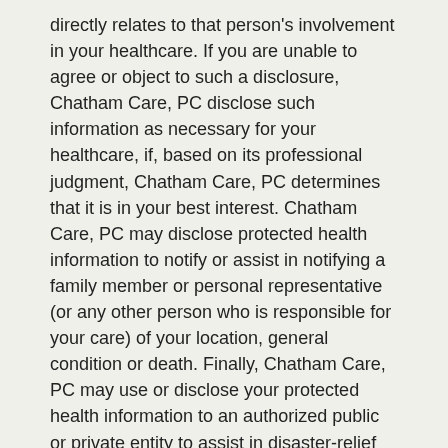directly relates to that person's involvement in your healthcare. If you are unable to agree or object to such a disclosure, Chatham Care, PC disclose such information as necessary for your healthcare, if, based on its professional judgment, Chatham Care, PC determines that it is in your best interest. Chatham Care, PC may disclose protected health information to notify or assist in notifying a family member or personal representative (or any other person who is responsible for your care) of your location, general condition or death. Finally, Chatham Care, PC may use or disclose your protected health information to an authorized public or private entity to assist in disaster-relief efforts.
To avert a serious threat to health or safety: Chatham Care, PC may use and disclose protected health information about you when necessary to prevent a serious threat to your health and safety, or the health and safety of another person or the public. However, any disclosure would only be to someone who is able to help prevent the threat.
Workers' compensation: Chatham Care, PC may release